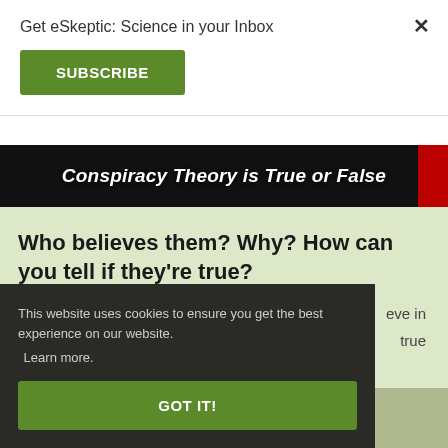Get eSkeptic: Science in your Inbox
SUBSCRIBE
[Figure (screenshot): Dark book cover banner with white bold italic text reading 'Conspiracy Theory is True or False' and a red accent on the right edge]
Who believes them? Why? How can you tell if they’re true?
eve in
true
This website uses cookies to ensure you get the best experience on our website. Learn more.
GOT IT!